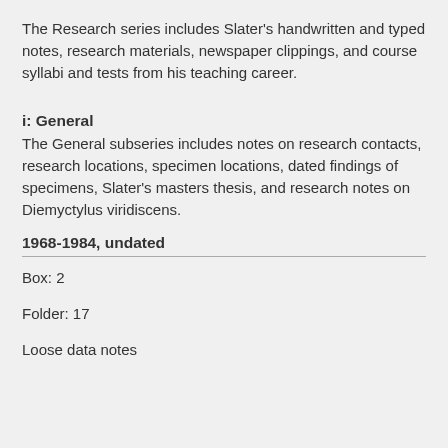The Research series includes Slater's handwritten and typed notes, research materials, newspaper clippings, and course syllabi and tests from his teaching career.
i: General
The General subseries includes notes on research contacts, research locations, specimen locations, dated findings of specimens, Slater's masters thesis, and research notes on Diemyctylus viridiscens.
1968-1984, undated
Box: 2
Folder: 17
Loose data notes